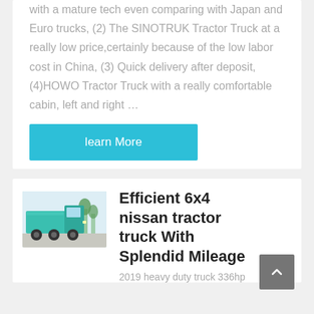with a mature tech even comparing with Japan and Euro trucks, (2) The SINOTRUK Tractor Truck at a really low price,certainly because of the low labor cost in China, (3) Quick delivery after deposit, (4)HOWO Tractor Truck with a really comfortable cabin, left and right …
learn More
[Figure (photo): Green HOWO dump truck parked outdoors]
Efficient 6x4 nissan tractor truck With Splendid Mileage
2019 heavy duty truck 336hp